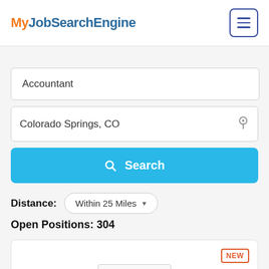MyJobSearchEngine
Accountant
Colorado Springs, CO
Search
Distance: Within 25 Miles
Open Positions: 304
[Figure (screenshot): NEW badge card preview at bottom]